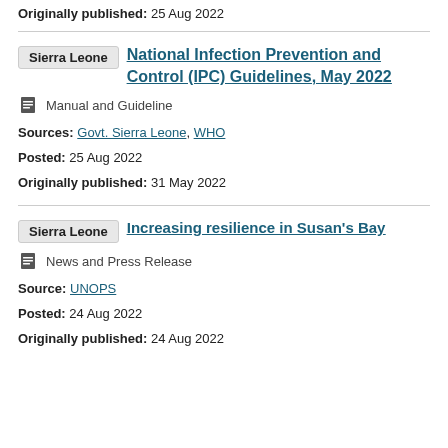Originally published: 25 Aug 2022
Sierra Leone   National Infection Prevention and Control (IPC) Guidelines, May 2022
Manual and Guideline
Sources: Govt. Sierra Leone, WHO
Posted: 25 Aug 2022
Originally published: 31 May 2022
Sierra Leone   Increasing resilience in Susan's Bay
News and Press Release
Source: UNOPS
Posted: 24 Aug 2022
Originally published: 24 Aug 2022